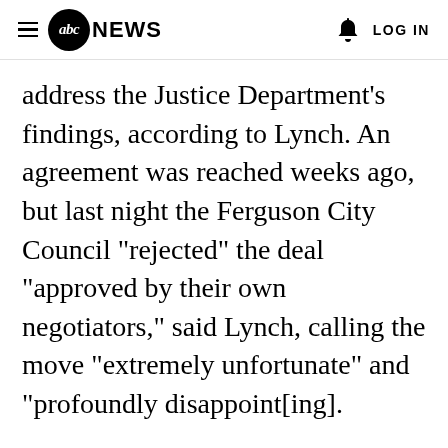≡ abc NEWS  🔔  LOG IN
address the Justice Department's findings, according to Lynch. An agreement was reached weeks ago, but last night the Ferguson City Council "rejected" the deal "approved by their own negotiators," said Lynch, calling the move "extremely unfortunate" and "profoundly disappoint[ing].